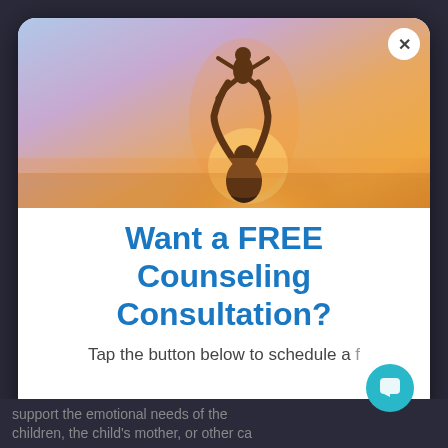[Figure (photo): Silhouette of an adult lifting a child up against a warm sunset sky with orange and pink gradient background]
Want a FREE Counseling Consultation?
Tap the button below to schedule a free consultation.
support the emotional needs of the children, the child's mother, or other ca